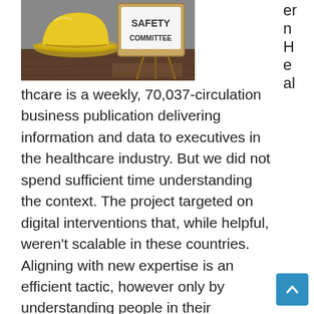[Figure (photo): Photo of a yellow hard hat next to a chalkboard sign reading 'SAFETY COMMITTEE' on a wooden surface]
ern H e al thcare is a weekly, 70,037-circulation business publication delivering information and data to executives in the healthcare industry. But we did not spend sufficient time understanding the context. The project targeted on digital interventions that, while helpful, weren't scalable in these countries. Aligning with new expertise is an efficient tactic, however only by understanding people in their communities can we develop acceptable, accepted and effective behavioral approaches. India has also developed a digital portal referred to as Co